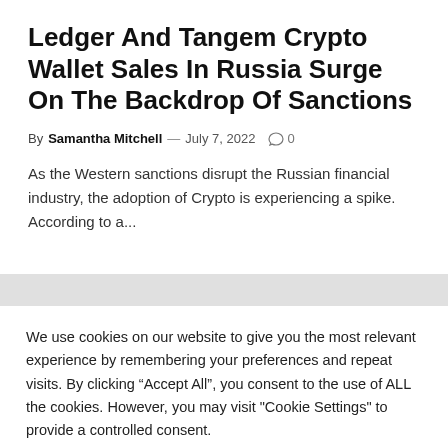Ledger And Tangem Crypto Wallet Sales In Russia Surge On The Backdrop Of Sanctions
By Samantha Mitchell — July 7, 2022  0
As the Western sanctions disrupt the Russian financial industry, the adoption of Crypto is experiencing a spike. According to a...
We use cookies on our website to give you the most relevant experience by remembering your preferences and repeat visits. By clicking “Accept All”, you consent to the use of ALL the cookies. However, you may visit "Cookie Settings" to provide a controlled consent.